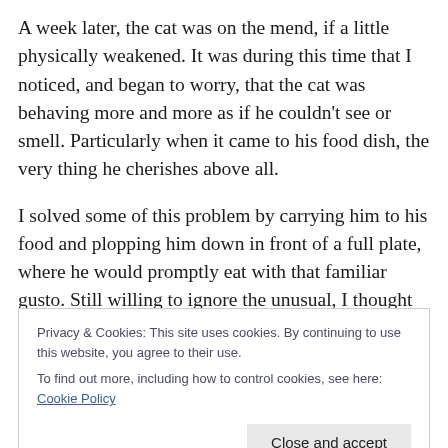A week later, the cat was on the mend, if a little physically weakened. It was during this time that I noticed, and began to worry, that the cat was behaving more and more as if he couldn't see or smell. Particularly when it came to his food dish, the very thing he cherishes above all.
I solved some of this problem by carrying him to his food and plopping him down in front of a full plate, where he would promptly eat with that familiar gusto. Still willing to ignore the unusual, I thought the cat, like his owner, just needed to be treated like a pretty, pretty princess. And
Privacy & Cookies: This site uses cookies. By continuing to use this website, you agree to their use.
To find out more, including how to control cookies, see here: Cookie Policy
Close and accept
ripe.